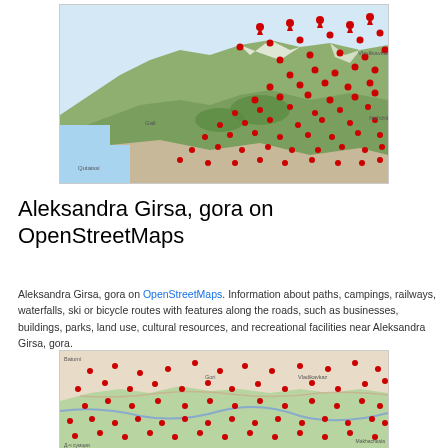[Figure (map): OpenStreetMap view of Aleksandra Girsa, gora region showing terrain with red location markers/pins scattered across the mountainous area]
Aleksandra Girsa, gora on OpenStreetMaps
Aleksandra Girsa, gora on OpenStreetMaps. Information about paths, campings, railways, waterfalls, ski or bicycle routes with features along the roads, such as businesses, buildings, parks, land use, cultural resources, and recreational facilities near Aleksandra Girsa, gora.
[Figure (map): OpenStreetMap view of Aleksandra Girsa, gora region at a different zoom level showing terrain with many red location markers/pins scattered across the area]